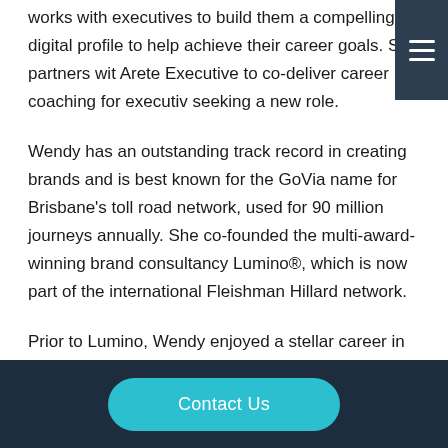works with executives to build them a compelling digital profile to help achieve their career goals. She partners with Arete Executive to co-deliver career coaching for executives seeking a new role.
Wendy has an outstanding track record in creating brands and is best known for the GoVia name for Brisbane's toll road network, used for 90 million journeys annually. She co-founded the multi-award-winning brand consultancy Lumino®, which is now part of the international Fleishman Hillard network.
Prior to Lumino, Wendy enjoyed a stellar career in marketing communications, advising iconic global brands such as Apple, Nokia, PepsiCo, Gatorade, Gillette and Raid.
Contact Us